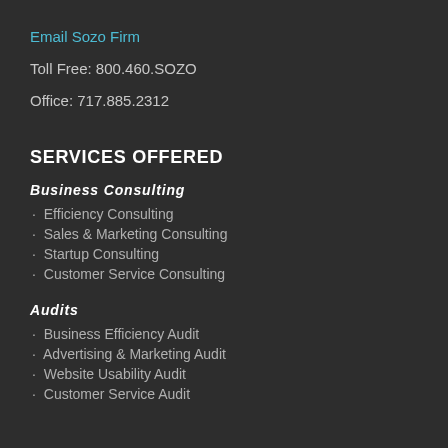Email Sozo Firm
Toll Free: 800.460.SOZO
Office: 717.885.2312
SERVICES OFFERED
Business Consulting
Efficiency Consulting
Sales & Marketing Consulting
Startup Consulting
Customer Service Consulting
Audits
Business Efficiency Audit
Advertising & Marketing Audit
Website Usability Audit
Customer Service Audit